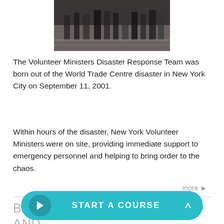[Figure (photo): Cropped photo showing people's legs and feet walking, likely at a disaster response site]
The Volunteer Ministers Disaster Response Team was born out of the World Trade Centre disaster in New York City on September 11, 2001.
Within hours of the disaster, New York Volunteer Ministers were on site, providing immediate support to emergency personnel and helping to bring order to the chaos.
more ▶
BRINGING HOPE AND ASIA